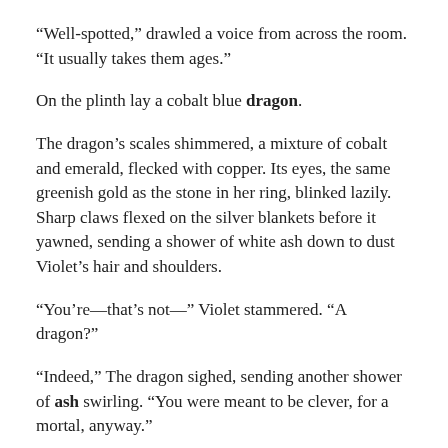“Well-spotted,” drawled a voice from across the room. “It usually takes them ages.”
On the plinth lay a cobalt blue dragon.
The dragon’s scales shimmered, a mixture of cobalt and emerald, flecked with copper. Its eyes, the same greenish gold as the stone in her ring, blinked lazily. Sharp claws flexed on the silver blankets before it yawned, sending a shower of white ash down to dust Violet’s hair and shoulders.
“You’re—that’s not—” Violet stammered. “A dragon?”
“Indeed,” The dragon sighed, sending another shower of ash swirling. “You were meant to be clever, for a mortal, anyway.”
“What’s that supposed to mean?”